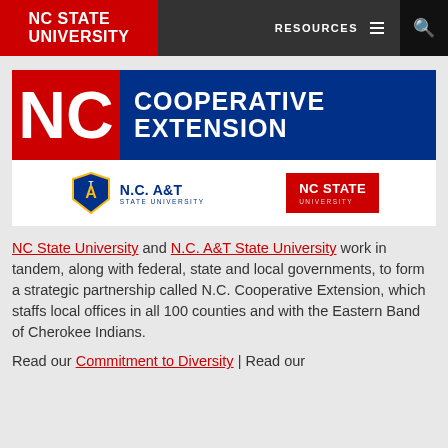NC STATE UNIVERSITY | RESOURCES | Search
[Figure (logo): NC Cooperative Extension logo with red NC block and blue Cooperative Extension text, with N.C. A&T State University and NC State University logos below]
NC State University and N.C. A&T State University work in tandem, along with federal, state and local governments, to form a strategic partnership called N.C. Cooperative Extension, which staffs local offices in all 100 counties and with the Eastern Band of Cherokee Indians.
Read our Commitment to Diversity | Read our